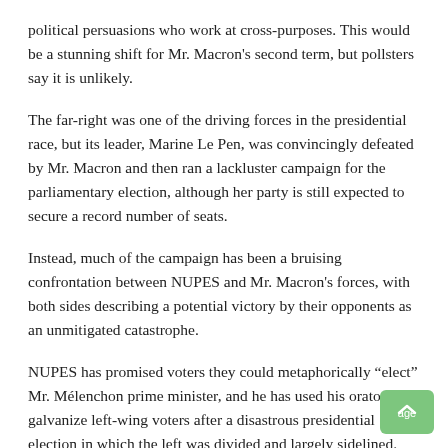political persuasions who work at cross-purposes. This would be a stunning shift for Mr. Macron's second term, but pollsters say it is unlikely.
The far-right was one of the driving forces in the presidential race, but its leader, Marine Le Pen, was convincingly defeated by Mr. Macron and then ran a lackluster campaign for the parliamentary election, although her party is still expected to secure a record number of seats.
Instead, much of the campaign has been a bruising confrontation between NUPES and Mr. Macron's forces, with both sides describing a potential victory by their opponents as an unmitigated catastrophe.
NUPES has promised voters they could metaphorically “elect” Mr. Mélenchon prime minister, and he has used his oratory to galvanize left-wing voters after a disastrous presidential election in which the left was divided and largely sidelined.
Mr. Mélenchon has vowed that his coalition would bring the legal age of retirement to 60, raise the monthly minimum wage to $1,580,